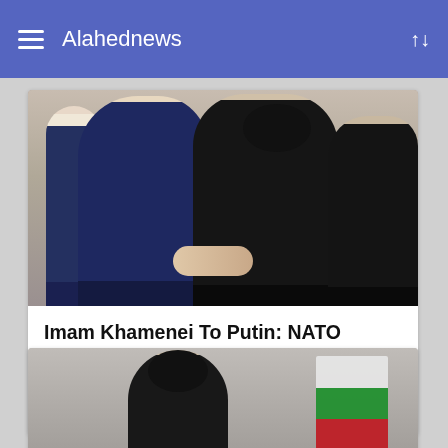Alahednews
[Figure (photo): Two men shaking hands — a man in a dark suit on the left (Putin) and a cleric in black robes and turban in the center, with a third person partially visible on the right.]
Imam Khamenei To Putin: NATO Knows No Boundaries, Had to Be Stopped
one month ago
[Figure (photo): Partial view of a man wearing a black turban, with an Iranian flag visible on the right side.]